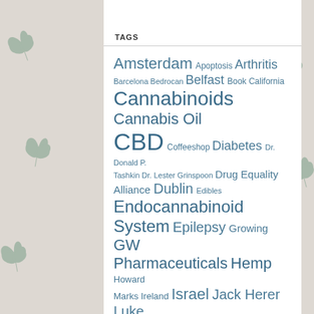TAGS
Amsterdam Apoptosis Arthritis Barcelona Bedrocan Belfast Book California Cannabinoids Cannabis Oil CBD Coffeeshop Diabetes Dr. Donald P. Tashkin Dr. Lester Grinspoon Drug Equality Alliance Dublin Edibles Endocannabinoid System Epilepsy Growing GW Pharmaceuticals Hemp Howard Marks Ireland Israel Jack Herer Luke 'Ming' Flanagan Marc Emery Medicinal Must see documentaries Na...